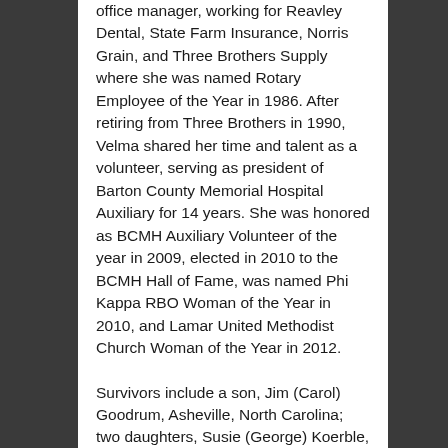office manager, working for Reavley Dental, State Farm Insurance, Norris Grain, and Three Brothers Supply where she was named Rotary Employee of the Year in 1986. After retiring from Three Brothers in 1990, Velma shared her time and talent as a volunteer, serving as president of Barton County Memorial Hospital Auxiliary for 14 years. She was honored as BCMH Auxiliary Volunteer of the year in 2009, elected in 2010 to the BCMH Hall of Fame, was named Phi Kappa RBO Woman of the Year in 2010, and Lamar United Methodist Church Woman of the Year in 2012.
Survivors include a son, Jim (Carol) Goodrum, Asheville, North Carolina; two daughters, Susie (George) Koerble, Fair Grove, Missouri and Brenda (Mike) Willet, Branson, Missouri; four sisters, Helen Bailey, Carthage, Missouri, Betty Runion, Oklahoma City, Oklahoma, Ruth Ann (Russell) Human, Tulsa, Oklahoma, and Rachel Elrod, Aurora, Colorado; seven grandchildren,